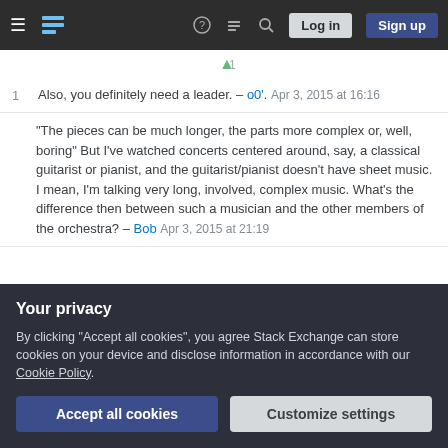Navigation bar with hamburger menu, Stack Exchange logo, help, chat, search icons, Log in and Sign up buttons
Also, you definitely need a leader. – o0'. Apr 3, 2015 at 16:16
"The pieces can be much longer, the parts more complex or, well, boring" But I've watched concerts centered around, say, a classical guitarist or pianist, and the guitarist/pianist doesn't have sheet music. I mean, I'm talking very long, involved, complex music. What's the difference then between such a musician and the other members of the orchestra? – Bob Apr 3, 2015 at 21:19
Your privacy
By clicking "Accept all cookies", you agree Stack Exchange can store cookies on your device and disclose information in accordance with our Cookie Policy.
Accept all cookies
Customize settings
enough times, they would no longer require sheet